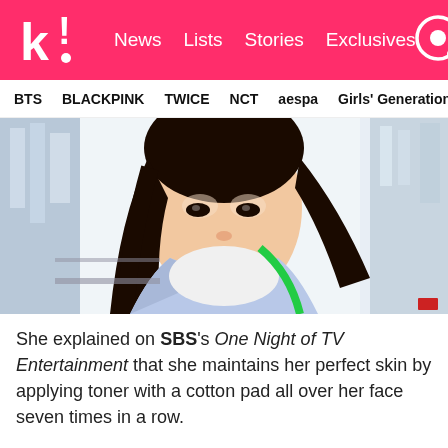k! News Lists Stories Exclusives
BTS BLACKPINK TWICE NCT aespa Girls' Generation
[Figure (photo): Young East Asian woman with long dark hair, wearing a white top and light blue printed jacket, photographed outdoors with urban background]
She explained on SBS's One Night of TV Entertainment that she maintains her perfect skin by applying toner with a cotton pad all over her face seven times in a row.